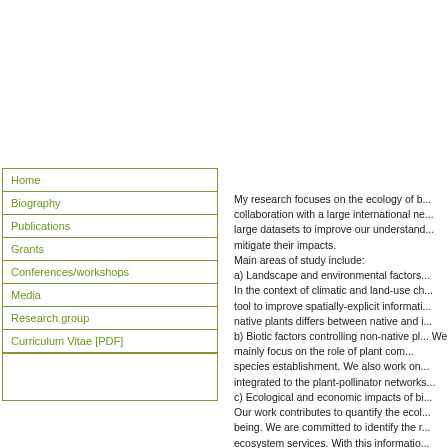Home
Biography
Publications
Grants
Conferences/workshops
Media
Research group
Curriculum Vitae [PDF]
My research focuses on the ecology of b... collaboration with a large international ne... large datasets to improve our understand... mitigate their impacts. Main areas of study include: a) Landscape and environmental factors... In the context of climatic and land-use ch... tool to improve spatially-explicit informati... native plants differs between native and i... b) Biotic factors controlling non-native pl... We mainly focus on the role of plant com... species establishment. We also work on... integrated to the plant-pollinator networks... c) Ecological and economic impacts of bi... Our work contributes to quantify the ecol... being. We are committed to identify the r... ecosystem services. With this informatio...